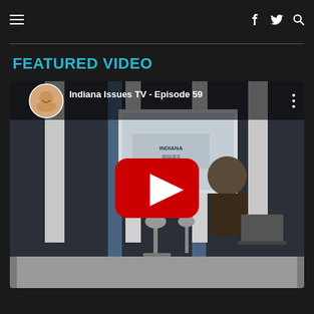Navigation bar with hamburger menu and social icons (Facebook, Twitter, Search)
FEATURED VIDEO
[Figure (screenshot): YouTube video thumbnail for 'Indiana Issues TV - Episode 59' showing a TV studio set with a host seated at a desk with microphones, a projection screen displaying Indiana Issues branding, and a YouTube play button overlay in the center. A circular profile photo of a smiling man appears in the top-left corner of the thumbnail.]